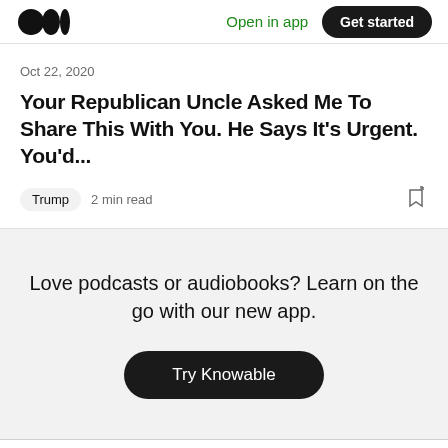Medium logo | Open in app | Get started
Oct 22, 2020
Your Republican Uncle Asked Me To Share This With You. He Says It's Urgent. You'd...
Trump  2 min read
Love podcasts or audiobooks? Learn on the go with our new app.
Try Knowable
Home | Search | Profile